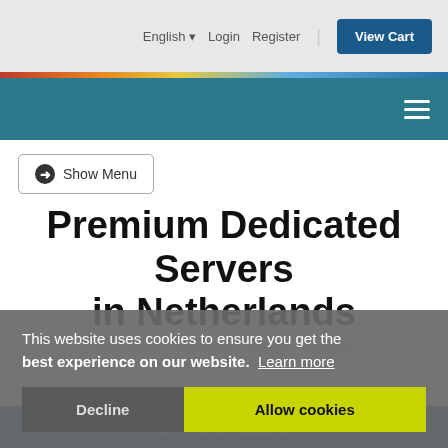English ▾  Login  Register  View Cart
[Figure (screenshot): Website navigation bar with teal background and hamburger menu icon]
➜ Show Menu
Premium Dedicated Servers in Netherlands
Data Center Greenhouse Location: Naaldwijk, Netherlands.
Xeon E3-1230v6
This website uses cookies to ensure you get the best experience on our website. Learn more
Decline  Allow cookies